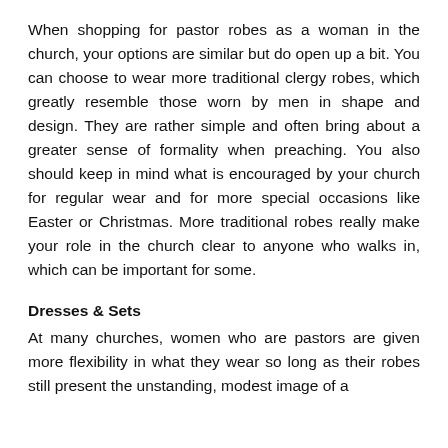When shopping for pastor robes as a woman in the church, your options are similar but do open up a bit. You can choose to wear more traditional clergy robes, which greatly resemble those worn by men in shape and design. They are rather simple and often bring about a greater sense of formality when preaching. You also should keep in mind what is encouraged by your church for regular wear and for more special occasions like Easter or Christmas. More traditional robes really make your role in the church clear to anyone who walks in, which can be important for some.
Dresses & Sets
At many churches, women who are pastors are given more flexibility in what they wear so long as their robes still present the unstanding, modest image of a